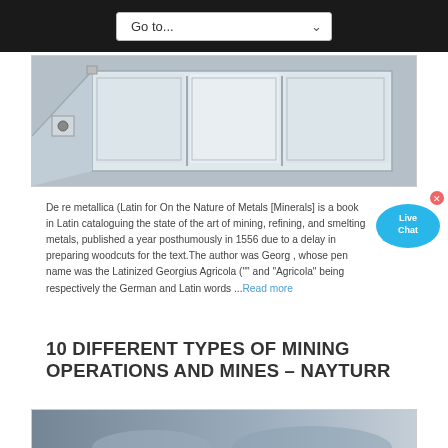Go to...
[Figure (photo): Industrial machine — white/grey metallic cabinet with panels and control elements, photographed in a workshop setting]
De re metallica (Latin for On the Nature of Metals [Minerals] is a book in Latin cataloguing the state of the art of mining, refining, and smelting metals, published a year posthumously in 1556 due to a delay in preparing woodcuts for the text. The author was Georg , whose pen name was the Latinized Georgius Agricola ("" and "Agricola" being respectively the German and Latin words ...Read more
10 DIFFERENT TYPES OF MINING OPERATIONS AND MINES – NAYTURR
[Figure (photo): Partial view of another photo at the bottom of the page — appears to be an outdoor or industrial scene]